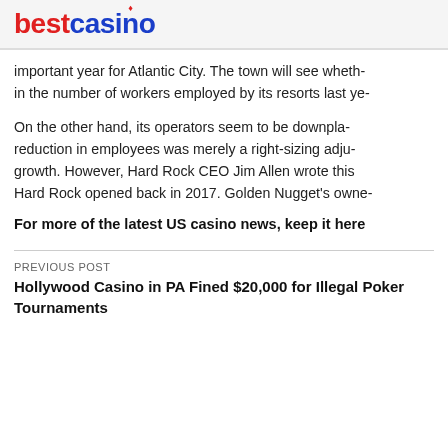bestcasino
important year for Atlantic City. The town will see wheth- in the number of workers employed by its resorts last ye-
On the other hand, its operators seem to be downpla- reduction in employees was merely a right-sizing adju- growth. However, Hard Rock CEO Jim Allen wrote this Hard Rock opened back in 2017. Golden Nugget's owne-
For more of the latest US casino news, keep it here
PREVIOUS POST
Hollywood Casino in PA Fined $20,000 for Illegal Poker Tournaments